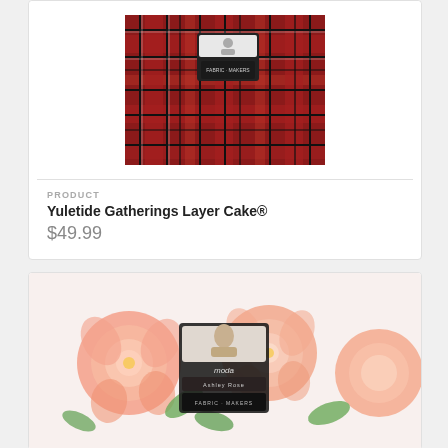[Figure (photo): Product photo of Yuletide Gatherings Layer Cake fabric bundle with red and black plaid pattern, showing a folded fabric stack with a Moda brand label on top]
PRODUCT
Yuletide Gatherings Layer Cake®
$49.99
[Figure (photo): Product photo of a floral fabric Layer Cake bundle featuring large pink and peach roses on a light background, with a Moda brand label, partially visible]